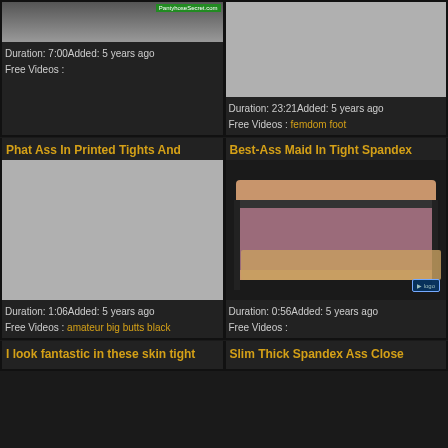[Figure (screenshot): Top-left video thumbnail card with partial image at top, duration and free videos text]
Duration: 7:00Added: 5 years ago
Free Videos :
[Figure (screenshot): Top-right video thumbnail card with gray placeholder image]
Duration: 23:21Added: 5 years ago
Free Videos : femdom foot
Phat Ass In Printed Tights And
[Figure (screenshot): Gray placeholder thumbnail for Phat Ass In Printed Tights And]
Duration: 1:06Added: 5 years ago
Free Videos : amateur big butts black
Best-Ass Maid In Tight Spandex
[Figure (photo): Video thumbnail showing person in pink/mauve underwear]
Duration: 0:56Added: 5 years ago
Free Videos :
I look fantastic in these skin tight
Slim Thick Spandex Ass Close